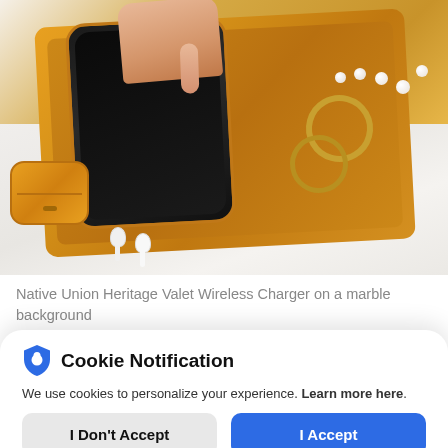[Figure (photo): Native Union Heritage Valet Wireless Charger on a marble background — a yellow/tan leather tray holding a black smartphone (being touched by a hand from above), yellow AirPods case, gold jewelry rings, and pearl necklace scattered on white marble surface.]
Native Union Heritage Valet Wireless Charger on a marble background
We use cookies to personalize your experience. Learn more here.